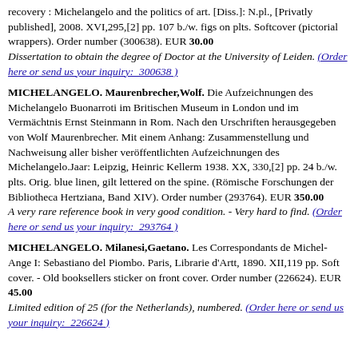recovery : Michelangelo and the politics of art. [Diss.]: N.pl., [Privatly published], 2008. XVI,295,[2] pp. 107 b./w. figs on plts. Softcover (pictorial wrappers). Order number (300638). EUR 30.00
Dissertation to obtain the degree of Doctor at the University of Leiden. (Order here or send us your inquiry: 300638 )
MICHELANGELO. Maurenbrecher,Wolf. Die Aufzeichnungen des Michelangelo Buonarroti im Britischen Museum in London und im Vermächtnis Ernst Steinmann in Rom. Nach den Urschriften herausgegeben von Wolf Maurenbrecher. Mit einem Anhang: Zusammenstellung und Nachweisung aller bisher veröffentlichten Aufzeichnungen des Michelangelo.Jaar: Leipzig, Heinric Kellerm 1938. XX, 330,[2] pp. 24 b./w. plts. Orig. blue linen, gilt lettered on the spine. (Römische Forschungen der Bibliotheca Hertziana, Band XIV). Order number (293764). EUR 350.00
A very rare reference book in very good condition. - Very hard to find. (Order here or send us your inquiry: 293764 )
MICHELANGELO. Milanesi,Gaetano. Les Correspondants de Michel-Ange I: Sebastiano del Piombo. Paris, Librarie d'Artt, 1890. XII,119 pp. Soft cover. - Old booksellers sticker on front cover. Order number (226624). EUR 45.00
Limited edition of 25 (for the Netherlands), numbered. (Order here or send us your inquiry: 226624 )